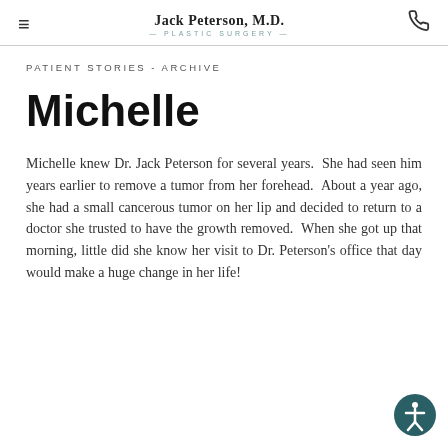Jack Peterson, M.D. — PLASTIC SURGERY
PATIENT STORIES - ARCHIVE
Michelle
Michelle knew Dr. Jack Peterson for several years.  She had seen him years earlier to remove a tumor from her forehead.  About a year ago, she had a small cancerous tumor on her lip and decided to return to a doctor she trusted to have the growth removed.  When she got up that morning, little did she know her visit to Dr. Peterson's office that day would make a huge change in her life!